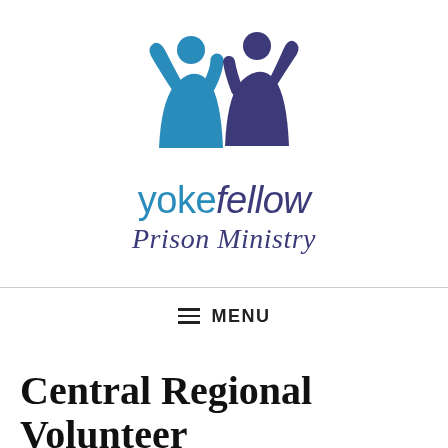[Figure (logo): Yokefellow Prison Ministry logo: two stylized figures (one teal, one dark navy) with arms raised together, above the text 'yokefellow' in teal and italic dark navy, and 'Prison Ministry' in italic dark navy serif below.]
≡ MENU
Central Regional Volunteer